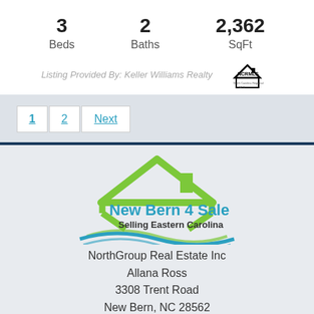3 Beds
2 Baths
2,362 SqFt
Listing Provided By: Keller Williams Realty
[Figure (logo): NCRMLS North Carolina Regional MLS logo with house icon]
1  2  Next
[Figure (logo): New Bern 4 Sale - Selling Eastern Carolina logo with green house roof and teal/blue wave design]
NorthGroup Real Estate Inc
Allana Ross
3308 Trent Road
New Bern, NC 28562